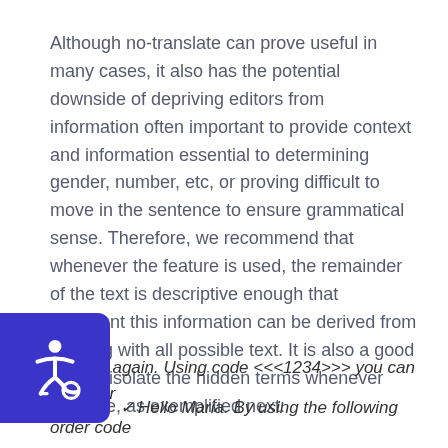Although no-translate can prove useful in many cases, it also has the potential downside of depriving editors from information often important to provide context and information essential to determining gender, number, etc, or proving difficult to move in the sentence to ensure grammatical sense. Therefore, we recommend that whenever the feature is used, the remainder of the text is descriptive enough that important this information can be derived from it, along with all possible text. It is also a good idea to isolate the hidden terms whenever possible, as exemplified next:
❑ Hello again. Using code <<<1234>>> you can find your
✓ Hello Maria. By using the following order code